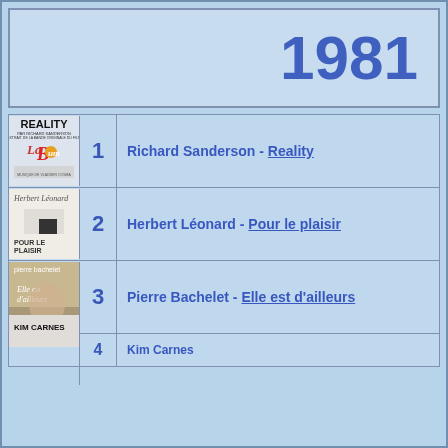1981
| Cover | Rank | Artist - Song |
| --- | --- | --- |
| [image] | 1 | Richard Sanderson - Reality |
| [image] | 2 | Herbert Léonard - Pour le plaisir |
| [image] | 3 | Pierre Bachelet - Elle est d'ailleurs |
| [image] | 4 | Kim Carnes |